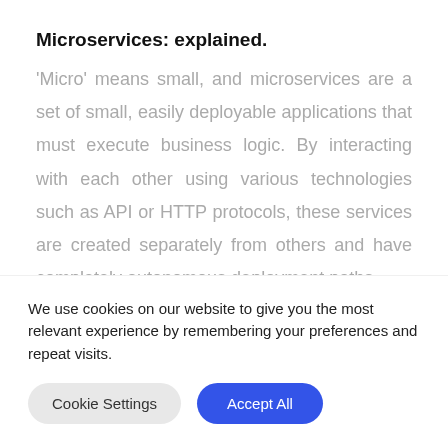Microservices: explained.
'Micro' means small, and microservices are a set of small, easily deployable applications that must execute business logic. By interacting with each other using various technologies such as API or HTTP protocols, these services are created separately from others and have completely autonomous deployment paths.
We use cookies on our website to give you the most relevant experience by remembering your preferences and repeat visits.